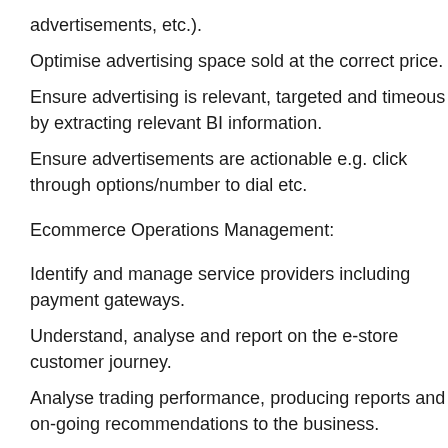advertisements, etc.).
Optimise advertising space sold at the correct price.
Ensure advertising is relevant, targeted and timeous by extracting relevant BI information.
Ensure advertisements are actionable e.g. click through options/number to dial etc.
Ecommerce Operations Management:
Identify and manage service providers including payment gateways.
Understand, analyse and report on the e-store customer journey.
Analyse trading performance, producing reports and on-going recommendations to the business.
Customer Satisfaction: